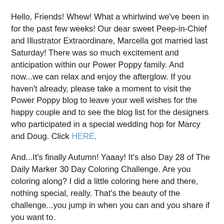Hello, Friends! Whew! What a whirlwind we've been in for the past few weeks! Our dear sweet Peep-in-Chief and Illustrator Extraordinare, Marcella got married last Saturday! There was so much excitement and anticipation within our Power Poppy family. And now...we can relax and enjoy the afterglow. If you haven't already, please take a moment to visit the Power Poppy blog to leave your well wishes for the happy couple and to see the blog list for the designers who participated in a special wedding hop for Marcy and Doug. Click HERE.
And...It's finally Autumn! Yaaay! It's also Day 28 of The Daily Marker 30 Day Coloring Challenge. Are you coloring along? I did a little coloring here and there, nothing special, really. That's the beauty of the challenge...you jump in when you can and you share if you want to.
Well, today, I have a remixed digi to share with you. This one is a beautiful celebration of my favorite season. The set includes a gorgeous burst of Fall florals and two lovely sentiments. It's called Autumn's Opulence and I know you're